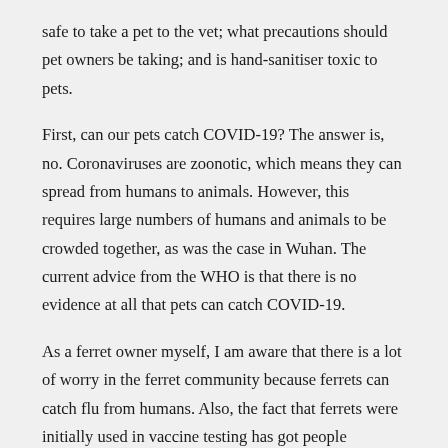safe to take a pet to the vet; what precautions should pet owners be taking; and is hand-sanitiser toxic to pets.
First, can our pets catch COVID-19? The answer is, no. Coronaviruses are zoonotic, which means they can spread from humans to animals. However, this requires large numbers of humans and animals to be crowded together, as was the case in Wuhan. The current advice from the WHO is that there is no evidence at all that pets can catch COVID-19.
As a ferret owner myself, I am aware that there is a lot of worry in the ferret community because ferrets can catch flu from humans. Also, the fact that ferrets were initially used in vaccine testing has got people worried. The reasons ferrets were initially thought to be a good